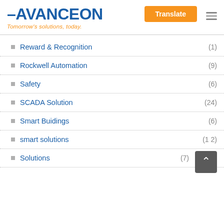[Figure (logo): Avanceon company logo with blue text and orange tagline 'Tomorrow's solutions, today.']
Reward & Recognition (1)
Rockwell Automation (9)
Safety (6)
SCADA Solution (24)
Smart Buidings (6)
smart solutions (1 2)
Solutions (7)